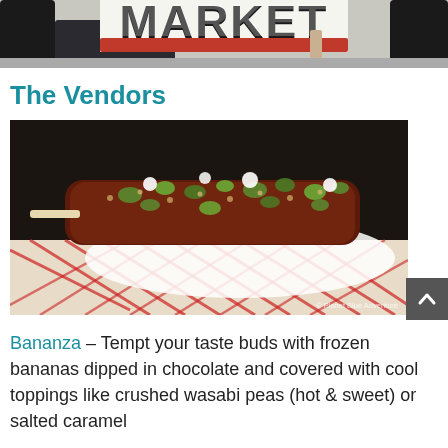[Figure (photo): Top portion of a market sign with bold red and white text reading 'MARKET' on a street scene with cars and pedestrians]
The Vendors
[Figure (photo): Close-up photo of a frozen banana on a stick dipped in chocolate and topped with crushed nuts, green toppings (likely wasabi peas), and white cream dollops, served in a red checkered food tray liner. Watermark reads '© Planet Blue Adventure']
Bananza – Tempt your taste buds with frozen bananas dipped in chocolate and covered with cool toppings like crushed wasabi peas (hot & sweet) or salted caramel